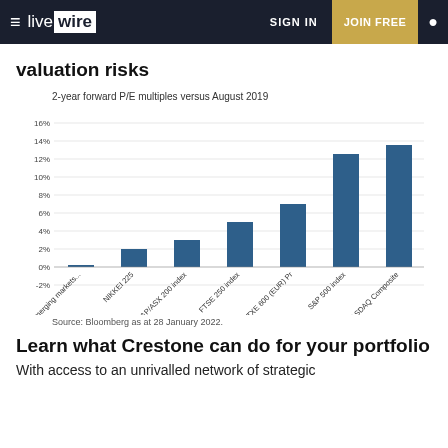live wire  SIGN IN  JOIN FREE
valuation risks
[Figure (bar-chart): 2-year forward P/E multiples versus August 2019]
Source: Bloomberg as at 28 January 2022.
Learn what Crestone can do for your portfolio
With access to an unrivalled network of strategic